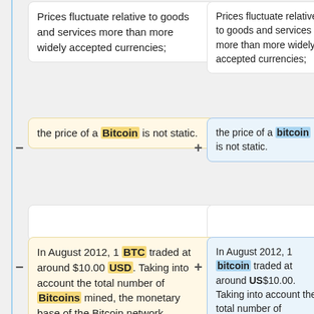Prices fluctuate relative to goods and services more than more widely accepted currencies;
Prices fluctuate relative to goods and services more than more widely accepted currencies;
the price of a Bitcoin is not static.
the price of a bitcoin is not static.
In August 2012, 1 BTC traded at around $10.00 USD. Taking into account the total number of Bitcoins mined, the monetary base of the Bitcoin network
In August 2012, 1 bitcoin traded at around US$10.00. Taking into account the total number of bitcoins mined, the monetary base of the